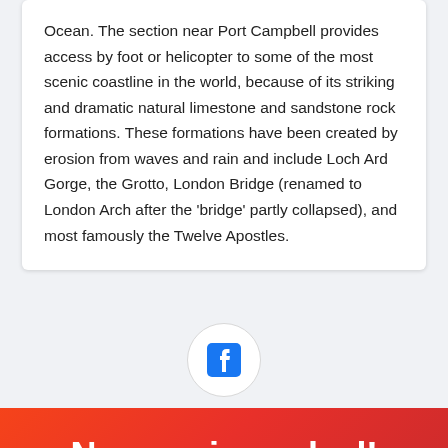Ocean. The section near Port Campbell provides access by foot or helicopter to some of the most scenic coastline in the world, because of its striking and dramatic natural limestone and sandstone rock formations. These formations have been created by erosion from waves and rain and include Loch Ard Gorge, the Grotto, London Bridge (renamed to London Arch after the 'bridge' partly collapsed), and most famously the Twelve Apostles.
[Figure (logo): Facebook logo icon in a white circle with grey border]
Never miss a deal!
Get the best Victorian